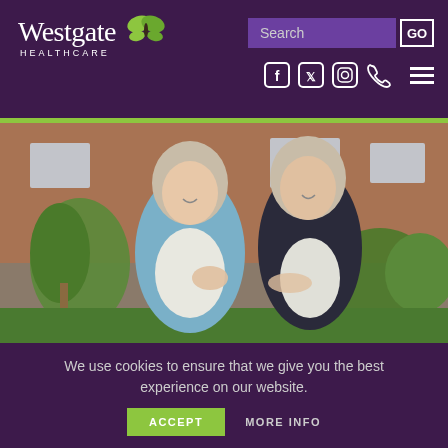[Figure (logo): Westgate Healthcare logo with butterfly graphic and white text on dark purple background]
Search
GO
[Figure (screenshot): Social media icons: Facebook, Twitter, Instagram, Phone, and hamburger menu icon]
[Figure (photo): Two elderly women smiling and talking outdoors in front of a brick building with gardens]
We use cookies to ensure that we give you the best experience on our website.
ACCEPT
MORE INFO